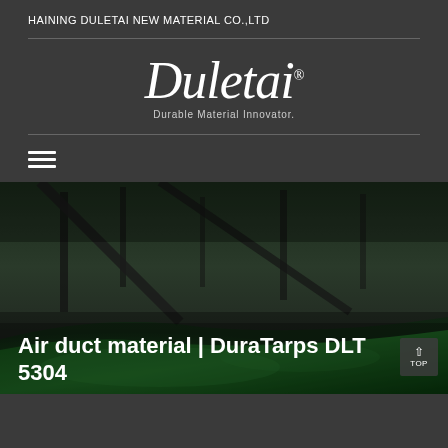HAINING DULETAI NEW MATERIAL CO.,LTD
[Figure (logo): Duletai cursive script logo with registered trademark symbol and tagline 'Durable Material Innovator.']
[Figure (photo): Close-up photo of green industrial fabric or air duct material, dark blurred background with green surface visible in lower portion]
Air duct material | DuraTarps DLT-5304